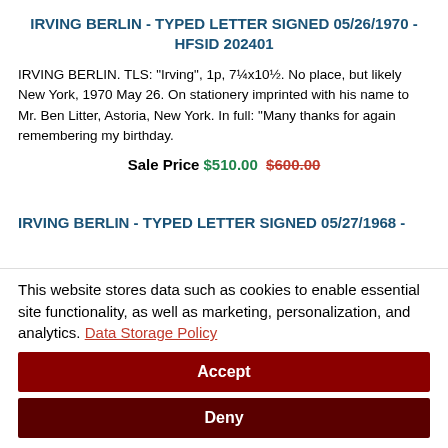IRVING BERLIN - TYPED LETTER SIGNED 05/26/1970 - HFSID 202401
IRVING BERLIN. TLS: "Irving", 1p, 7¼x10½. No place, but likely New York, 1970 May 26. On stationery imprinted with his name to Mr. Ben Litter, Astoria, New York. In full: "Many thanks for again remembering my birthday.
Sale Price $510.00  $600.00
IRVING BERLIN - TYPED LETTER SIGNED 05/27/1968 -
This website stores data such as cookies to enable essential site functionality, as well as marketing, personalization, and analytics. Data Storage Policy
Accept
Deny